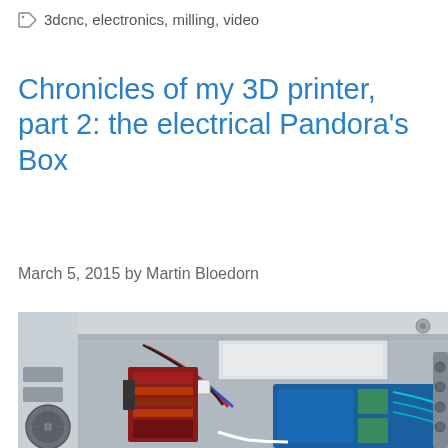3dcnc, electronics, milling, video
Chronicles of my 3D printer, part 2: the electrical Pandora’s Box
March 5, 2015 by Martin Bloedorn
[Figure (photo): Open electrical enclosure box showing PCB boards, wiring, stepper drivers, power supply, fan, and blue controller board with colored cables inside a gray metal/plastic housing]